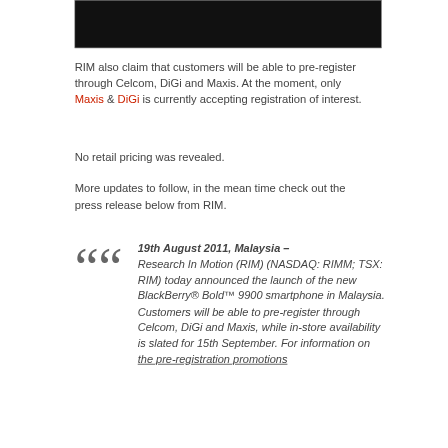[Figure (photo): Dark image of what appears to be a BlackBerry device keyboard/interior, cropped at top of page]
RIM also claim that customers will be able to pre-register through Celcom, DiGi and Maxis. At the moment, only Maxis & DiGi is currently accepting registration of interest.
No retail pricing was revealed.
More updates to follow, in the mean time check out the press release below from RIM.
19th August 2011, Malaysia – Research In Motion (RIM) (NASDAQ: RIMM; TSX: RIM) today announced the launch of the new BlackBerry® Bold™ 9900 smartphone in Malaysia. Customers will be able to pre-register through Celcom, DiGi and Maxis, while in-store availability is slated for 15th September. For information on the pre-registration promotions